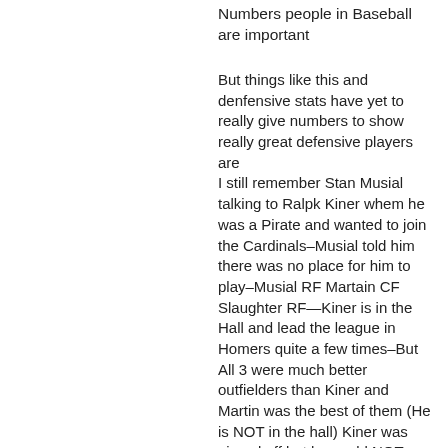Numbers people in Baseball are important
But things like this and denfensive stats have yet to really give numbers to show really great defensive players are
I still remember Stan Musial talking to Ralpk Kiner whem he was a Pirate and wanted to join the Cardinals–Musial told him there was no place for him to play–Musial RF Martain CF Slaughter RF—Kiner is in the Hall and lead the league in Homers quite a few times–But All 3 were much better outfielders than Kiner and Martin was the best of them (He is NOT in the hall) Kiner was pissed off but he could NOT argue–I played semipro 27 yrs Defense was always first–You dont need numbers if you play–Players know who is and who isnt–Same goes for closers and there just isnt the correct stats to really judge the greatness other than the –Save—So yes most of those listed above should be in the Hall